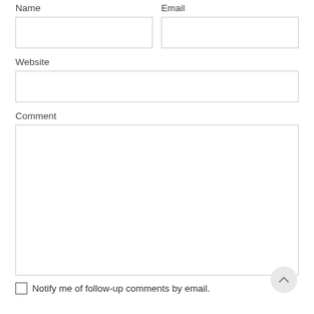Name
Email
[Figure (other): Name input field (empty text box)]
[Figure (other): Email input field (empty text box)]
Website
[Figure (other): Website input field (empty text box, full width)]
Comment
[Figure (other): Comment textarea (large empty box)]
Notify me of follow-up comments by email.